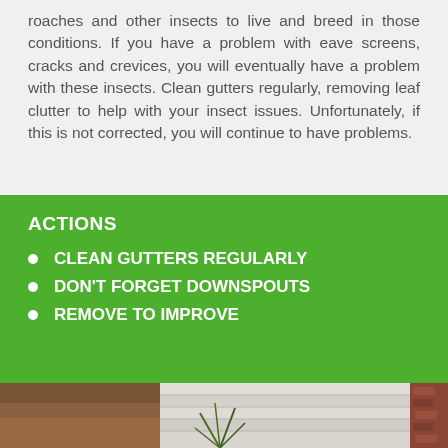roaches and other insects to live and breed in those conditions. If you have a problem with eave screens, cracks and crevices, you will eventually have a problem with these insects. Clean gutters regularly, removing leaf clutter to help with your insect issues. Unfortunately, if this is not corrected, you will continue to have problems.
ACTIONS
CLEAN GUTTERS REGULARLY
DON'T FORGET DOWNSPOUTS
REMOVE TO IMPROVE
[Figure (photo): Photo of house exterior showing siding, foundation area with mulch/soil, a plant, and brick wall on the right side]